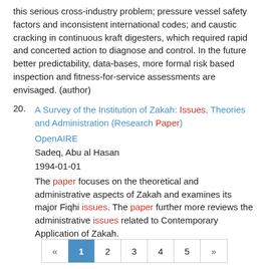this serious cross-industry problem; pressure vessel safety factors and inconsistent international codes; and caustic cracking in continuous kraft digesters, which required rapid and concerted action to diagnose and control. In the future better predictability, data-bases, more formal risk based inspection and fitness-for-service assessments are envisaged. (author)
20. A Survey of the Institution of Zakah: Issues, Theories and Administration (Research Paper)
OpenAIRE
Sadeq, Abu al Hasan
1994-01-01
The paper focuses on the theoretical and administrative aspects of Zakah and examines its major Fiqhi issues. The paper further more reviews the administrative issues related to Contemporary Application of Zakah.
« 1 2 3 4 5 »